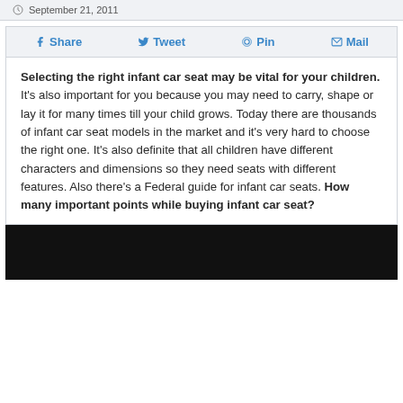September 21, 2011
Share  Tweet  Pin  Mail
Selecting the right infant car seat may be vital for your children. It's also important for you because you may need to carry, shape or lay it for many times till your child grows. Today there are thousands of infant car seat models in the market and it's very hard to choose the right one. It's also definite that all children have different characters and dimensions so they need seats with different features. Also there's a Federal guide for infant car seats. How many important points while buying infant car seat?
[Figure (photo): Dark/black image placeholder at bottom of page]